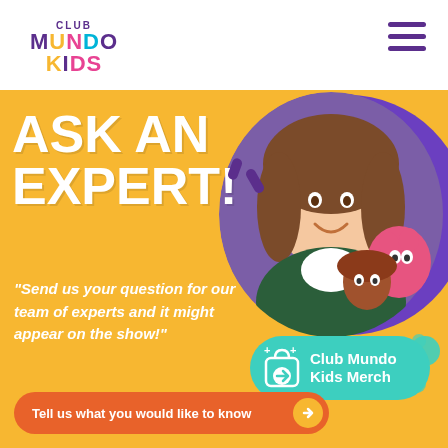[Figure (logo): Club Mundo Kids logo with colorful lettering in purple, yellow, pink, and blue on white background]
ASK AN EXPERT!
"Send us your question for our team of experts and it might appear on the show!"
[Figure (photo): Smiling woman with brown hair posing with colorful puppets/plush characters on a purple circular background]
[Figure (illustration): Club Mundo Kids Merch button with teal background, shopping bag icon with arrow]
Tell us what you would like to know